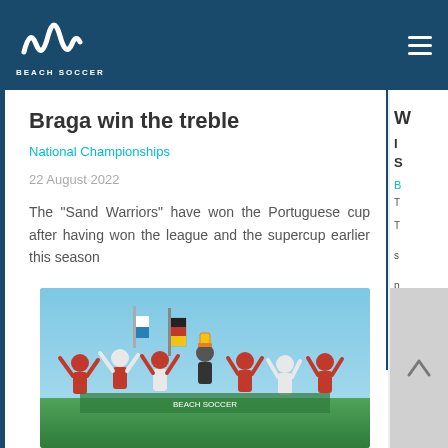Beach Soccer
Braga win the treble
National Championships
22 August 2022
The “Sand Warriors” have won the Portuguese cup after having won the league and the supercup earlier this season
[Figure (photo): Team celebrating victory, players raising arms and a trophy, wearing red and white striped jerseys, outdoors with flags visible]